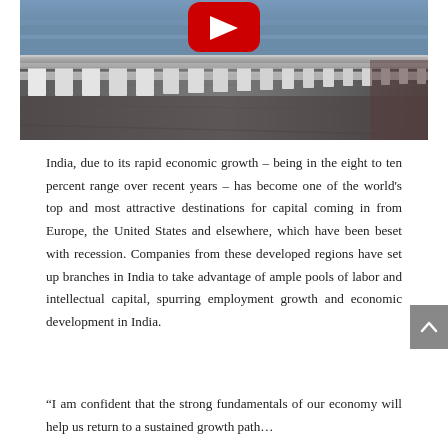[Figure (photo): Photograph of a bridge guardrail/railing structure with road surface, taken at an angle showing metal barriers and reflectors; a YouTube play button icon overlay is visible at the top center of the image.]
India, due to its rapid economic growth – being in the eight to ten percent range over recent years – has become one of the world's top and most attractive destinations for capital coming in from Europe, the United States and elsewhere, which have been beset with recession. Companies from these developed regions have set up branches in India to take advantage of ample pools of labor and intellectual capital, spurring employment growth and economic development in India.
“I am confident that the strong fundamentals of our economy will help us return to a sustained growth path…